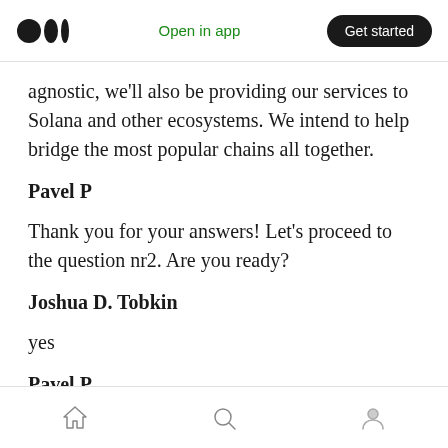Medium logo | Open in app | Get started
agnostic, we'll also be providing our services to Solana and other ecosystems. We intend to help bridge the most popular chains all together.
Pavel P
Thank you for your answers! Let's proceed to the question nr2. Are you ready?
Joshua D. Tobkin
yes
Pavel P
Home | Search | Profile